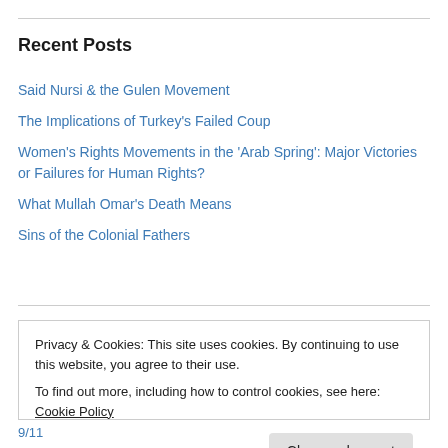Recent Posts
Said Nursi & the Gulen Movement
The Implications of Turkey's Failed Coup
Women's Rights Movements in the 'Arab Spring': Major Victories or Failures for Human Rights?
What Mullah Omar's Death Means
Sins of the Colonial Fathers
Archives
Privacy & Cookies: This site uses cookies. By continuing to use this website, you agree to their use. To find out more, including how to control cookies, see here: Cookie Policy
Close and accept
9/11